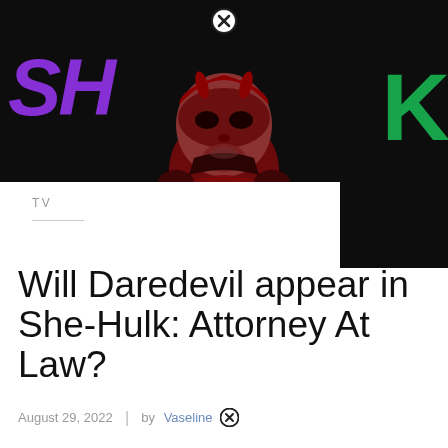[Figure (photo): Daredevil character in red suit and mask against dark background with She-Hulk show title text in purple and green]
TV
Will Daredevil appear in She-Hulk: Attorney At Law?
August 29, 2022 | by Vaseline